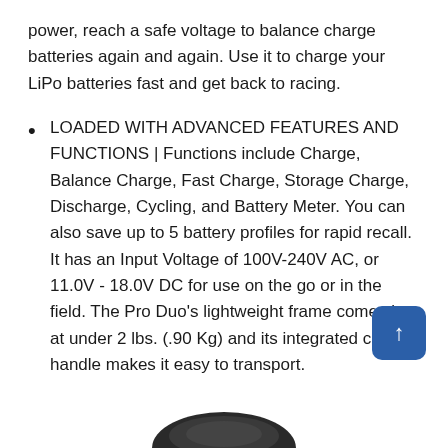power, reach a safe voltage to balance charge batteries again and again. Use it to charge your LiPo batteries fast and get back to racing.
LOADED WITH ADVANCED FEATURES AND FUNCTIONS | Functions include Charge, Balance Charge, Fast Charge, Storage Charge, Discharge, Cycling, and Battery Meter. You can also save up to 5 battery profiles for rapid recall. It has an Input Voltage of 100V-240V AC, or 11.0V - 18.0V DC for use on the go or in the field. The Pro Duo's lightweight frame comes in at under 2 lbs. (.90 Kg) and its integrated carry handle makes it easy to transport.
[Figure (other): Partial view of a black device (charger) visible at bottom of page]